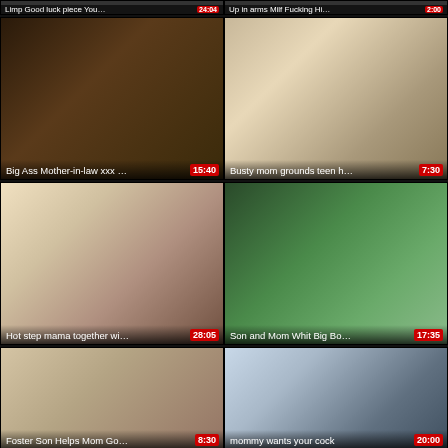[Figure (screenshot): Video thumbnail grid showing adult video thumbnails with titles and durations. Top partial row shows two truncated thumbnails. Row 1: 'Big Ass Mother-in-law xxx ...' 15:40, 'Busty mom grounds teen h...' 7:30. Row 2: 'Hot step mama together wi...' 28:05, 'Son and Mom Whit Big Bo...' 17:35. Row 3: 'Foster Son Helps Mom Go...' 8:30, 'mommy wants your cock' 20:00.]